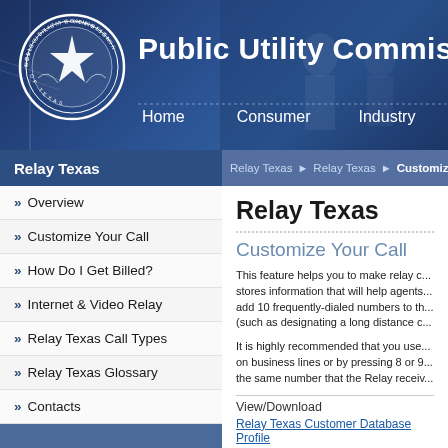[Figure (screenshot): Public Utility Commission of Texas website header with seal/logo on left, title 'Public Utility Commissio' (truncated), and navigation tabs: Home, Consumer, Industry]
Public Utility Commission of Texas — Home | Consumer | Industry
Relay Texas
>> Overview
>> Customize Your Call
>> How Do I Get Billed?
>> Internet & Video Relay
>> Relay Texas Call Types
>> Relay Texas Glossary
>> Contacts
Relay Texas
Customize Your Call
This feature helps you to make relay c... stores information that will help agents... add 10 frequently-dialed numbers to th... (such as designating a long distance c...
It is highly recommended that you use... on business lines or by pressing 8 or 9... the same number that the Relay receiv...
View/Download
Relay Texas Customer Database Profile